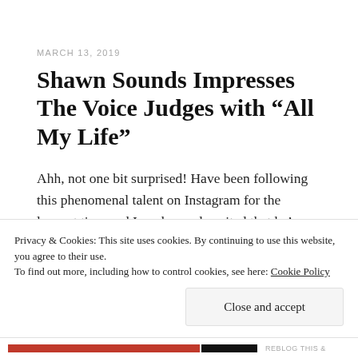MARCH 13, 2019
Shawn Sounds Impresses The Voice Judges with “All My Life”
Ahh, not one bit surprised! Have been following this phenomenal talent on Instagram for the longest time and I am beyond excited that he’s finally joined The Voice. “Sounds”, it’s in his name. Definitely can’t fight a calling! He’s been in the shadows for a while now
Privacy & Cookies: This site uses cookies. By continuing to use this website, you agree to their use.
To find out more, including how to control cookies, see here: Cookie Policy
Close and accept